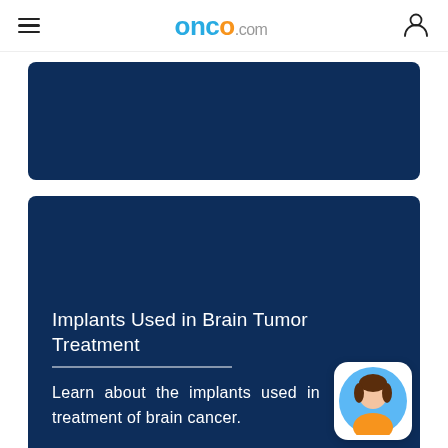onco.com
[Figure (illustration): Dark navy blue banner/card block at top, used as article thumbnail background]
[Figure (illustration): Dark navy blue card block with article title 'Implants Used in Brain Tumor Treatment', a horizontal divider line, and introductory text 'Learn about the implants used in treatment of brain cancer.']
Implants Used in Brain Tumor Treatment
Learn about the implants used in treatment of brain cancer.